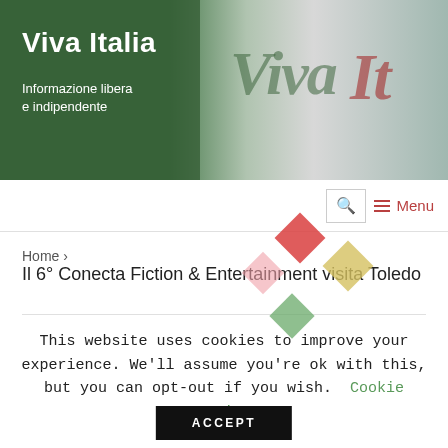[Figure (illustration): Viva Italia website header banner with green and grey background, decorative script logo text 'Viva It' visible, colorful diamond shapes overlay]
Viva Italia
Informazione libera
e indipendente
🔍  ☰ Menu
Home › Il 6° Conecta Fiction & Entertainment visita Toledo
This website uses cookies to improve your experience. We'll assume you're ok with this, but you can opt-out if you wish.  Cookie settings  ACCEPT